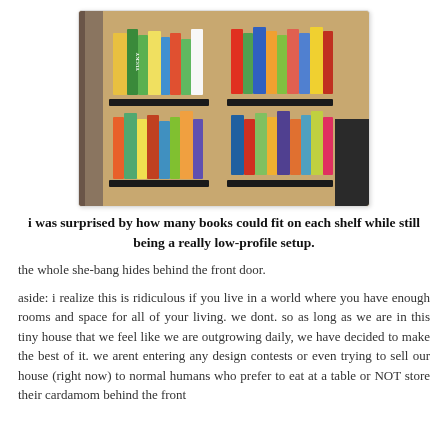[Figure (photo): Four wall-mounted black spice rack shelves used as book shelves, each holding multiple colorful children's books face-out, mounted on a tan/gold wall next to a door.]
i was surprised by how many books could fit on each shelf while still being a really low-profile setup.
the whole she-bang hides behind the front door.
aside: i realize this is ridiculous if you live in a world where you have enough rooms and space for all of your living. we dont. so as long as we are in this tiny house that we feel like we are outgrowing daily, we have decided to make the best of it. we arent entering any design contests or even trying to sell our house (right now) to normal humans who prefer to eat at a table or NOT store their cardamom behind the front